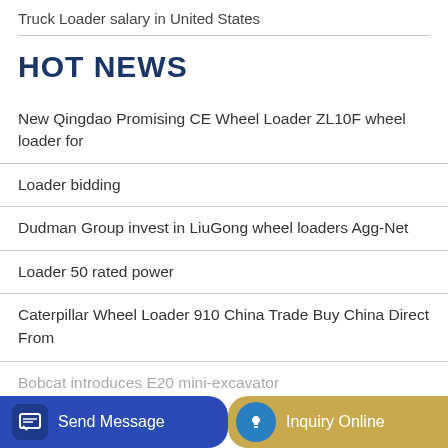Truck Loader salary in United States
HOT NEWS
New Qingdao Promising CE Wheel Loader ZL10F wheel loader for
Loader bidding
Dudman Group invest in LiuGong wheel loaders Agg-Net
Loader 50 rated power
Caterpillar Wheel Loader 910 China Trade Buy China Direct From
Bobcat introduces E20 mini-excavator